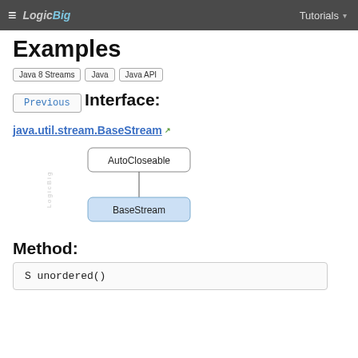≡ LogicBig   Tutorials ▾
Examples
Java 8 Streams
Java
Java API
Previous
Interface:
java.util.stream.BaseStream
[Figure (engineering-diagram): Class inheritance diagram showing AutoCloseable at top connected by a vertical line to BaseStream (highlighted in blue) below. LogicBig watermark on the left side.]
Method:
S unordered()